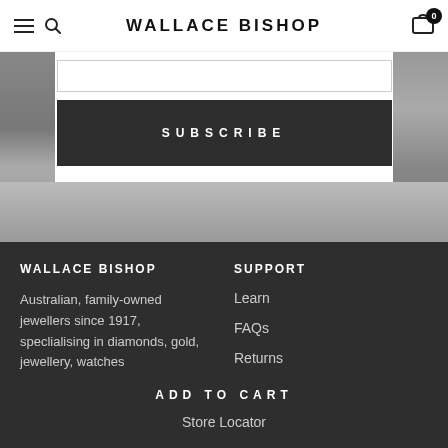WALLACE BISHOP
[Figure (screenshot): Black and white photo of a jewellery store interior, partially visible on left and right sides behind a white center overlay containing email input and subscribe button]
SUBSCRIBE
WALLACE BISHOP
Australian, family-owned jewellers since 1917, speclialising in diamonds, gold, jewellery, watches
SUPPORT
Learn
FAQs
Returns
ADD TO CART
Store Locator